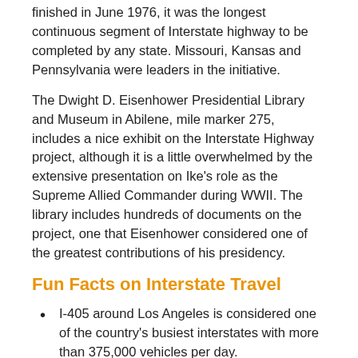finished in June 1976, it was the longest continuous segment of Interstate highway to be completed by any state. Missouri, Kansas and Pennsylvania were leaders in the initiative.
The Dwight D. Eisenhower Presidential Library and Museum in Abilene, mile marker 275, includes a nice exhibit on the Interstate Highway project, although it is a little overwhelmed by the extensive presentation on Ike's role as the Supreme Allied Commander during WWII. The library includes hundreds of documents on the project, one that Eisenhower considered one of the greatest contributions of his presidency.
Fun Facts on Interstate Travel
I-405 around Los Angeles is considered one of the country's busiest interstates with more than 375,000 vehicles per day.
The longest interstate is I-90 with 3,021 paved miles between Boston and Seattle.
President Eisenhower is honored with a tunnel in his name through the Colorado Rockies on the